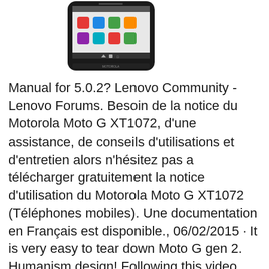[Figure (photo): A Motorola Moto G smartphone shown from the front, displaying the Android home screen, with a black bezel and the Motorola logo at the bottom.]
Manual for 5.0.2? Lenovo Community - Lenovo Forums. Besoin de la notice du Motorola Moto G XT1072, d'une assistance, de conseils d'utilisations et d'entretien alors n'hésitez pas a télécharger gratuitement la notice d'utilisation du Motorola Moto G XT1072 (Téléphones mobiles). Une documentation en Français est disponible., 06/02/2015 · It is very easy to tear down Moto G gen 2. Humanism design! Following this video, you can fix your broken Moto G2 by yourself. Get original Moto g2 replaceme....